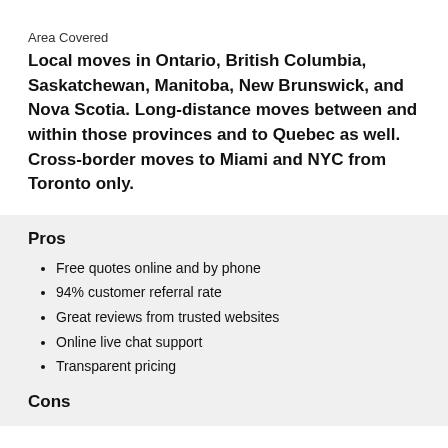Area Covered
Local moves in Ontario, British Columbia, Saskatchewan, Manitoba, New Brunswick, and Nova Scotia. Long-distance moves between and within those provinces and to Quebec as well. Cross-border moves to Miami and NYC from Toronto only.
Pros
Free quotes online and by phone
94% customer referral rate
Great reviews from trusted websites
Online live chat support
Transparent pricing
Cons